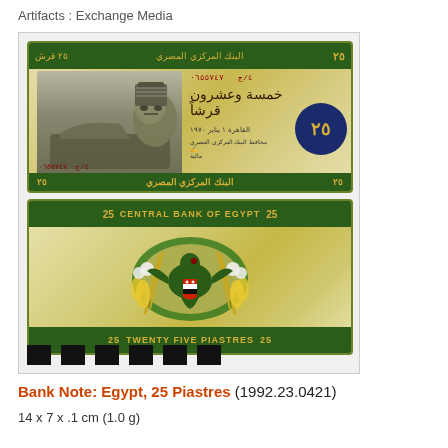Artifacts : Exchange Media
[Figure (photo): Photograph of both sides of an Egyptian 25 Piastres bank note. Front side shows a sphinx, Arabic text, serial number 4/C 0655747, and a blue circle with 25. Back side shows the Central Bank of Egypt eagle emblem with wheat and corn, labeled 25 CENTRAL BANK OF EGYPT 25 at top and 25 TWENTY FIVE PIASTRES 25 at bottom. A color calibration bar appears below.]
Bank Note: Egypt, 25 Piastres (1992.23.0421)
14 x 7 x .1 cm (1.0 g)